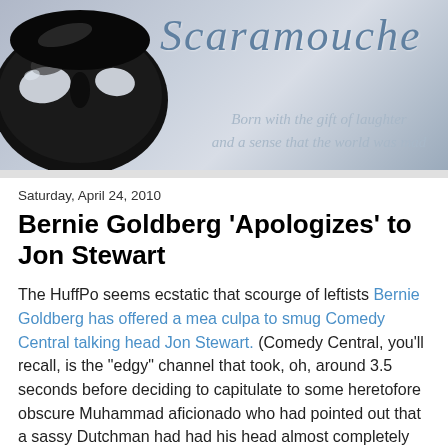[Figure (illustration): Blog header banner with a black masquerade mask on the left and the cursive italic title 'Scaramouche' in blue-gray on the right, with subtitle text 'Born with the gift of laughter and a sense that the world was mad' below in silver-gray italic.]
Saturday, April 24, 2010
Bernie Goldberg 'Apologizes' to Jon Stewart
The HuffPo seems ecstatic that scourge of leftists Bernie Goldberg has offered a mea culpa to smug Comedy Central talking head Jon Stewart. (Comedy Central, you'll recall, is the "edgy" channel that took, oh, around 3.5 seconds before deciding to capitulate to some heretofore obscure Muhammad aficionado who had pointed out that a sassy Dutchman had had his head almost completely severed from his neck for saying some "funny" things about Islam's founder. Quicker than you can say "jihad is